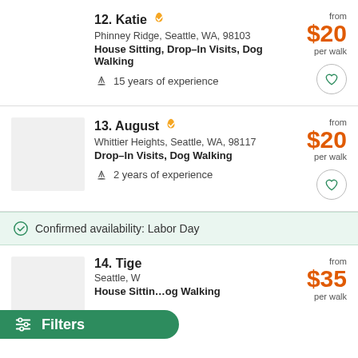12. Katie — Phinney Ridge, Seattle, WA, 98103 — House Sitting, Drop-In Visits, Dog Walking — 15 years of experience — from $20 per walk
13. August — Whittier Heights, Seattle, WA, 98117 — Drop-In Visits, Dog Walking — 2 years of experience — from $20 per walk
Confirmed availability: Labor Day
14. Tiger — Seattle, W... — House Sitting, ... Dog Walking — from $35 per walk
[Figure (other): Green Filters button overlay with sliders icon]